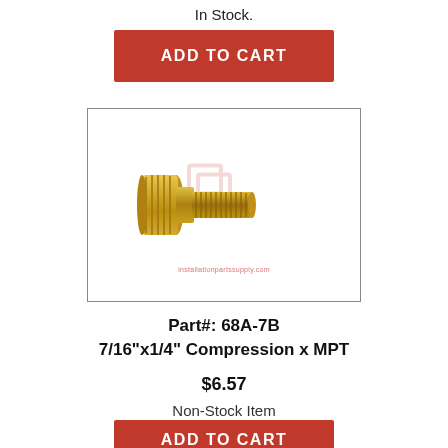In Stock.
ADD TO CART
[Figure (photo): Brass compression x MPT fitting (7/16" x 1/4") shown horizontally, gold colored metal fitting with knurled compression end and threaded MPT end, with watermark logo and installationpartssupply.com text]
Part#: 68A-7B
7/16"x1/4" Compression x MPT
$6.57
Non-Stock Item
ADD TO CART